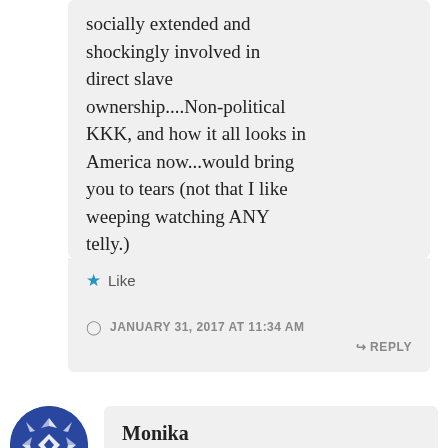socially extended and shockingly involved in direct slave ownership....Non-political KKK, and how it all looks in America now...would bring you to tears (not that I like weeping watching ANY telly.)
★ Like
JANUARY 31, 2017 AT 11:34 AM
↳ REPLY
[Figure (illustration): Blue circular avatar with white geometric/diamond pattern design]
Monika